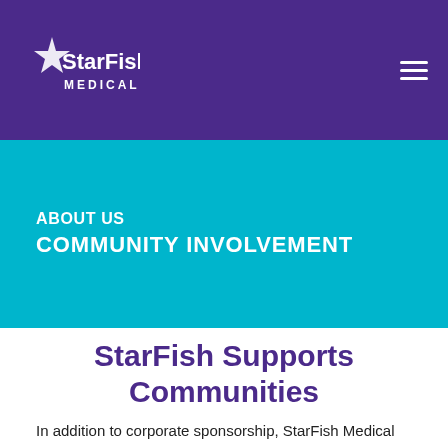StarFish Medical
ABOUT US
COMMUNITY INVOLVEMENT
StarFish Supports Communities
In addition to corporate sponsorship, StarFish Medical provides funding to help and encourage employee support of our communities.  Employees apply for funding on a